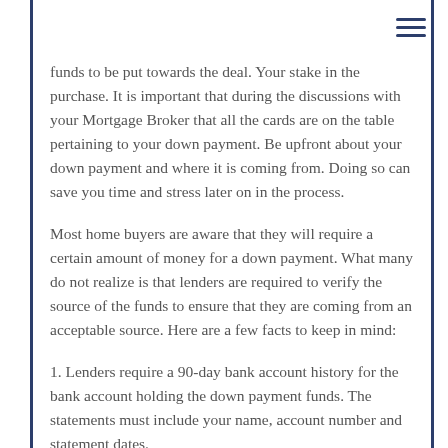funds to be put towards the deal. Your stake in the purchase. It is important that during the discussions with your Mortgage Broker that all the cards are on the table pertaining to your down payment. Be upfront about your down payment and where it is coming from. Doing so can save you time and stress later on in the process.
Most home buyers are aware that they will require a certain amount of money for a down payment. What many do not realize is that lenders are required to verify the source of the funds to ensure that they are coming from an acceptable source. Here are a few facts to keep in mind:
1. Lenders require a 90-day bank account history for the bank account holding the down payment funds. The statements must include your name, account number and statement dates.